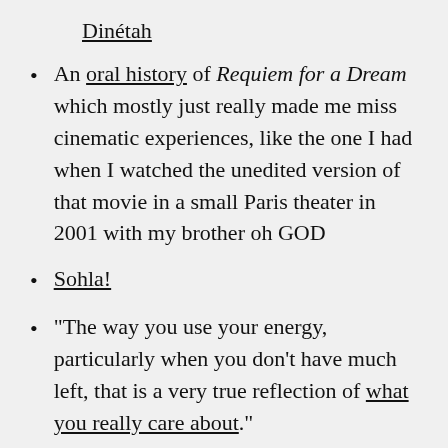Dinétah
An oral history of Requiem for a Dream which mostly just really made me miss cinematic experiences, like the one I had when I watched the unedited version of that movie in a small Paris theater in 2001 with my brother oh GOD
Sohla!
“The way you use your energy, particularly when you don’t have much left, that is a very true reflection of what you really care about.”
“A multiracial church which never confronts white supremacy is a white church”